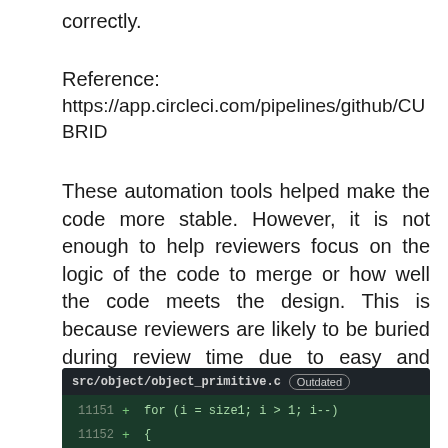correctly.
Reference:
https://app.circleci.com/pipelines/github/CUBRID
These automation tools helped make the code more stable. However, it is not enough to help reviewers focus on the logic of the code to merge or how well the code meets the design. This is because reviewers are likely to be buried during review time due to easy and visible problems such as simple mistakes and code formatting.
[Figure (screenshot): Code review screenshot showing file src/object/object_primitive.c with Outdated badge. Lines 11151, 11152, 11153 shown with green + additions: 'for (i = size1; i > 1; i--)', '{', 'if (string1[i - 1] != 0x20)']